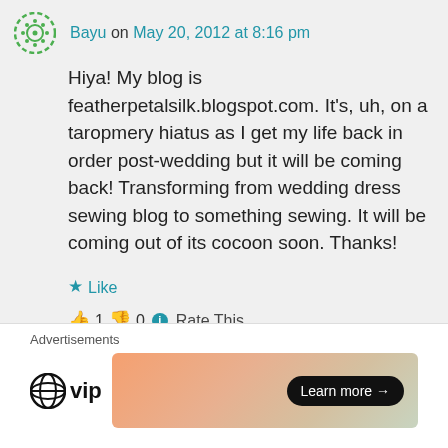Bayu on May 20, 2012 at 8:16 pm
Hiya! My blog is featherpetalsilk.blogspot.com. It's, uh, on a taropmery hiatus as I get my life back in order post-wedding but it will be coming back! Transforming from wedding dress sewing blog to something sewing. It will be coming out of its cocoon soon. Thanks!
★ Like
👍 1 👎 0 ℹ Rate This
↳ Reply
Advertisements
[Figure (logo): WordPress VIP logo and advertisement banner with Learn more button]